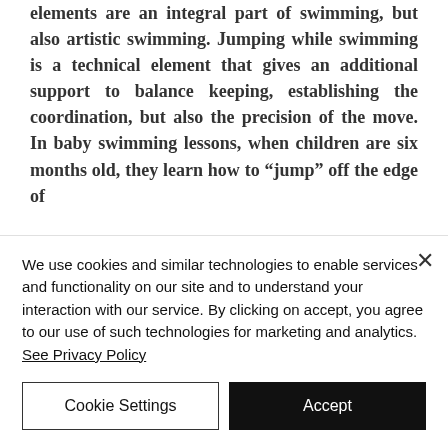elements are an integral part of swimming, but also artistic swimming. Jumping while swimming is a technical element that gives an additional support to balance keeping, establishing the coordination, but also the precision of the move. In baby swimming lessons, when children are six months old, they learn how to “jump” off the edge of
We use cookies and similar technologies to enable services and functionality on our site and to understand your interaction with our service. By clicking on accept, you agree to our use of such technologies for marketing and analytics. See Privacy Policy
Cookie Settings
Accept